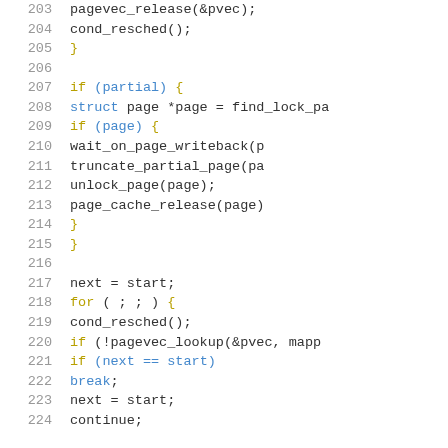[Figure (screenshot): Source code listing in C, lines 203-224, showing pagevec_release, cond_resched, partial page handling with find_lock_page, wait_on_page_writeback, truncate_partial_page, unlock_page, page_cache_release, and a for loop with pagevec_lookup.]